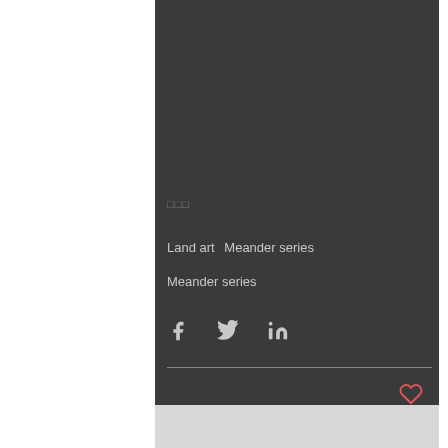□□□
Land art   Meander series
Meander series
[Figure (illustration): Social share icons: Facebook, Twitter, LinkedIn]
[Figure (illustration): Heart/like icon in red outline style]